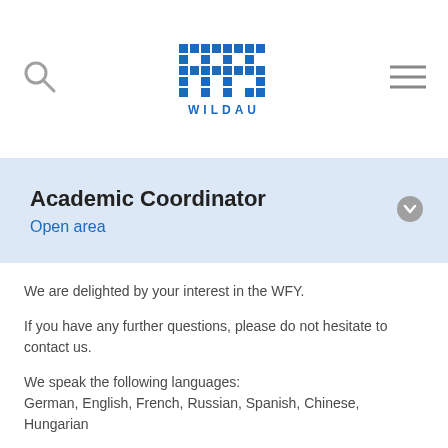TH Wildau logo with search and menu icons
Academic Coordinator
Open area
We are delighted by your interest in the WFY.
If you have any further questions, please do not hesitate to contact us.
We speak the following languages:
German, English, French, Russian, Spanish, Chinese, Hungarian
Looking forward to seeing you soon in Wildau!
Administrative Questions?